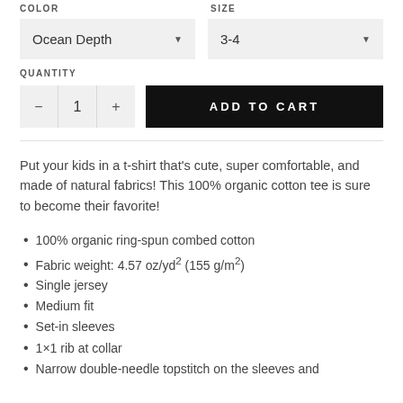COLOR
SIZE
Ocean Depth
3-4
QUANTITY
1
ADD TO CART
Put your kids in a t-shirt that's cute, super comfortable, and made of natural fabrics! This 100% organic cotton tee is sure to become their favorite!
100% organic ring-spun combed cotton
Fabric weight: 4.57 oz/yd² (155 g/m²)
Single jersey
Medium fit
Set-in sleeves
1×1 rib at collar
Narrow double-needle topstitch on the sleeves and